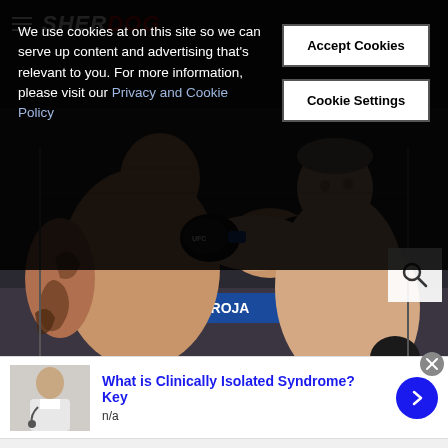Sherdog - MMA website header with hamburger menu and logo
We use cookies at on this site so we can serve up content and advertising that's relevant to you. For more information, please visit our Privacy and Cookie Policy
Accept Cookies
Cookie Settings
[Figure (photo): Two UFC fighters exchanging punches in the octagon. Left fighter has tattoos on his arm and back, right fighter is throwing a punch. UFC branding visible in background.]
[Figure (photo): Small thumbnail of a doctor/medical professional with stethoscope]
What is Clinically Isolated Syndrome? Key
n/a